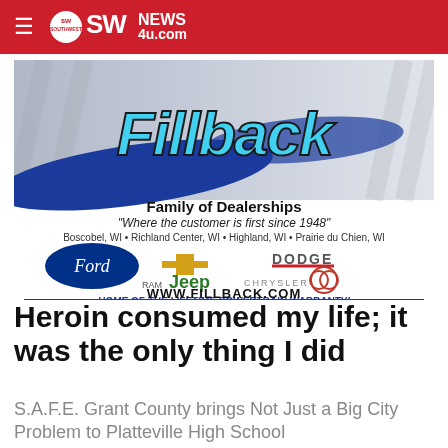SW News 4u.com
[Figure (advertisement): Fillback Family of Dealerships advertisement. Text reads: 'Fillback Family of Dealerships - Where the customer is first since 1948 - Boscobel, WI • Richland Center, WI • Highland, WI • Prairie du Chien, WI'. Features Ford, Chevrolet, Dodge, Ram, Jeep, Chrysler, Buick logos. HOME OF THE LIFETIME POWERTRAIN WARRANTY! WWW.FILLBACK.COM]
Heroin consumed my life; it was the only thing I did
S.A.F.E. Grant County brings Not Just a Big City Problem to Platteville High School